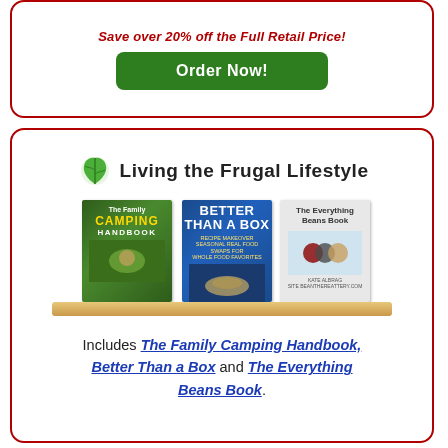Save over 20% off the Full Retail Price!
Order Now!
[Figure (illustration): Living the Frugal Lifestyle logo with leaf icon and three book covers (The Family Camping Handbook, Better Than a Box, The Everything Beans Book) displayed on a wooden shelf]
Includes The Family Camping Handbook, Better Than a Box and The Everything Beans Book.